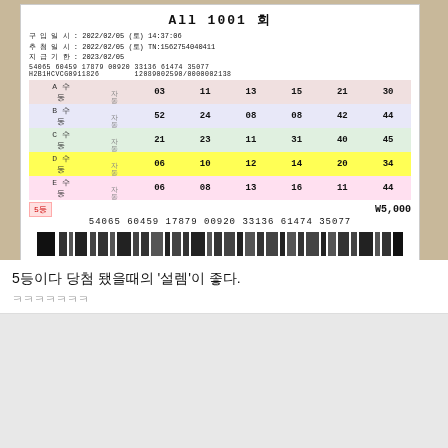[Figure (photo): Korean lottery (Lotto) ticket photo showing ticket number All 1001 회, purchase date 2022/02/05 (토) 14:37:06, draw date 2022/02/05 (토), expiration 2023/02/05. Five rows (A-E) of lottery numbers with row D highlighted in yellow: 06 10 12 14 20 34. Amount W5,000. Barcode numbers 54065 60459 17879 00920 33136 61474 35077.]
5등이다 당첨 됐을때의 '설렘'이 좋다.
ㅋㅋㅋㅋㅋㅋㅋ